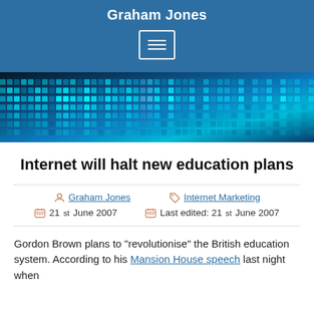Graham Jones
[Figure (screenshot): Blue digital grid / LED display hero image with cyan and blue tones]
Internet will halt new education plans
Graham Jones  |  Internet Marketing  |  21st June 2007  |  Last edited: 21st June 2007
Gordon Brown plans to “revolutionise” the British education system. According to his Mansion House speech last night when